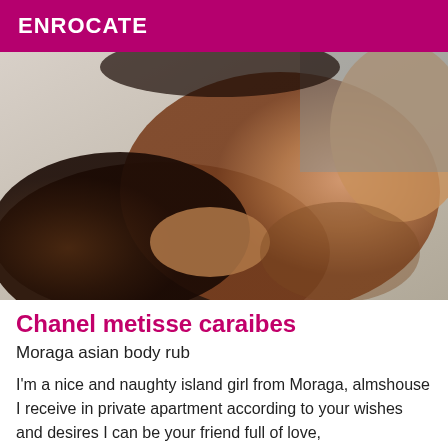ENROCATE
[Figure (photo): Close-up photo of two people with dark skin tones in an intimate pose]
Chanel metisse caraibes
Moraga asian body rub
I'm a nice and naughty island girl from Moraga, almshouse I receive in private apartment according to your wishes and desires I can be your friend full of love,